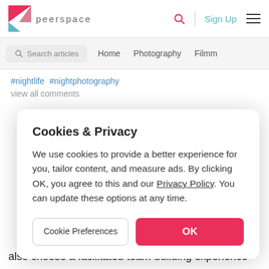[Figure (logo): Peerspace logo: geometric pink/teal arrow logo mark with 'peerspace' wordmark in grey]
peerspace    🔍  Sign Up  ☰
Search articles   Home   Photography   Filmm...
#nightlife #nightphotography
view all comments
Cookies & Privacy
We use cookies to provide a better experience for you, tailor content, and measure ads. By clicking OK, you agree to this and our Privacy Policy. You can update these options at any time.
Cookie Preferences   OK
also choose a facilitated team-building experience